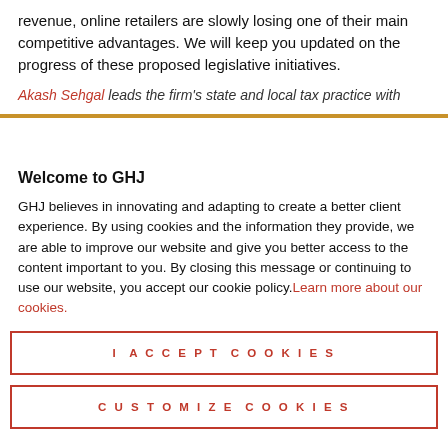revenue, online retailers are slowly losing one of their main competitive advantages. We will keep you updated on the progress of these proposed legislative initiatives.
Akash Sehgal leads the firm's state and local tax practice with a focus on multi-state tax and franchise tax matters...
Welcome to GHJ
GHJ believes in innovating and adapting to create a better client experience. By using cookies and the information they provide, we are able to improve our website and give you better access to the content important to you. By closing this message or continuing to use our website, you accept our cookie policy. Learn more about our cookies.
I ACCEPT COOKIES
CUSTOMIZE COOKIES